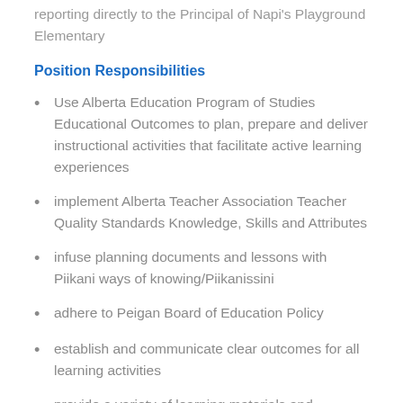reporting directly to the Principal of Napi's Playground Elementary
Position Responsibilities
Use Alberta Education Program of Studies Educational Outcomes to plan, prepare and deliver instructional activities that facilitate active learning experiences
implement Alberta Teacher Association Teacher Quality Standards Knowledge, Skills and Attributes
infuse planning documents and lessons with Piikani ways of knowing/Piikanissini
adhere to Peigan Board of Education Policy
establish and communicate clear outcomes for all learning activities
provide a variety of learning materials and resources